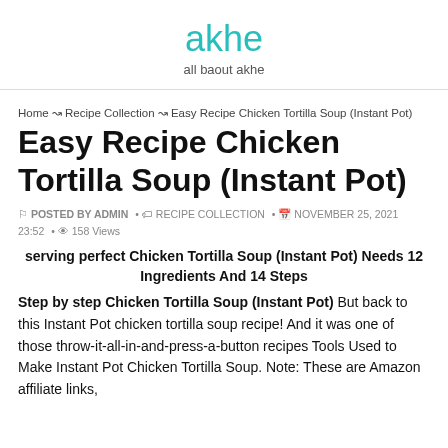akhe
all baout akhe
Home → Recipe Collection → Easy Recipe Chicken Tortilla Soup (Instant Pot)
Easy Recipe Chicken Tortilla Soup (Instant Pot)
POSTED BY ADMIN • RECIPE COLLECTION • NOVEMBER 25, 2021 23:52 • 158 Views
serving perfect Chicken Tortilla Soup (Instant Pot) Needs 12 Ingredients And 14 Steps
Step by step Chicken Tortilla Soup (Instant Pot) But back to this Instant Pot chicken tortilla soup recipe! And it was one of those throw-it-all-in-and-press-a-button recipes Tools Used to Make Instant Pot Chicken Tortilla Soup. Note: These are Amazon affiliate links,